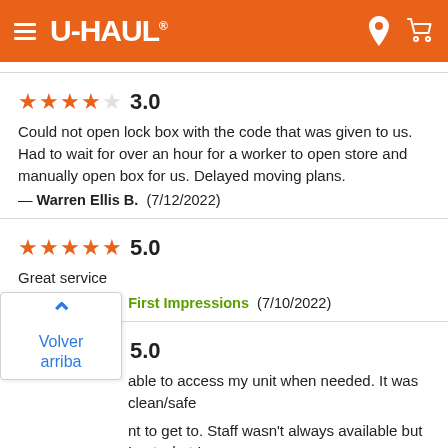U-HAUL
3.0
Could not open lock box with the code that was given to us. Had to wait for over an hour for a worker to open store and manually open box for us. Delayed moving plans.
— Warren Ellis B.  (7/12/2022)
5.0
Great service
— Samuel M.  |  First Impressions  (7/10/2022)
5.0
...able to access my unit when needed. It was clean/safe ...nt to get to. Staff wasn't always available but I got what I
— Nachite S.  |  Overall Experience  (7/10/2022)